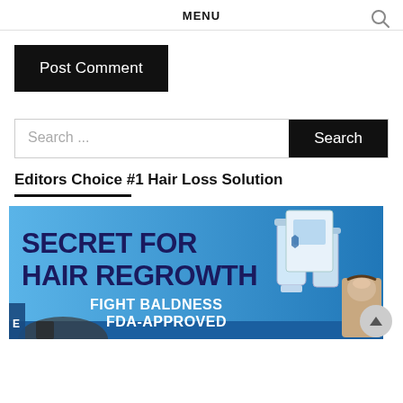MENU
Post Comment
Search ...
Search
Editors Choice #1 Hair Loss Solution
[Figure (infographic): Advertisement banner: SECRET FOR HAIR REGROWTH - FIGHT BALDNESS - FDA-APPROVED, with product bottles and before/after image on blue background]